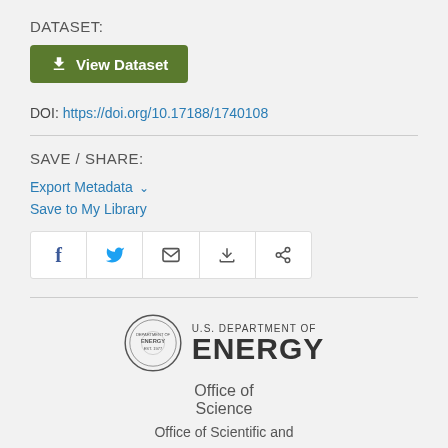DATASET:
View Dataset
DOI: https://doi.org/10.17188/1740108
SAVE / SHARE:
Export Metadata
Save to My Library
[Figure (infographic): Social sharing bar with icons for Facebook, Twitter, Email, Print, and Share]
[Figure (logo): U.S. Department of Energy - Office of Science logo with circular seal]
Office of Science
Office of Scientific and